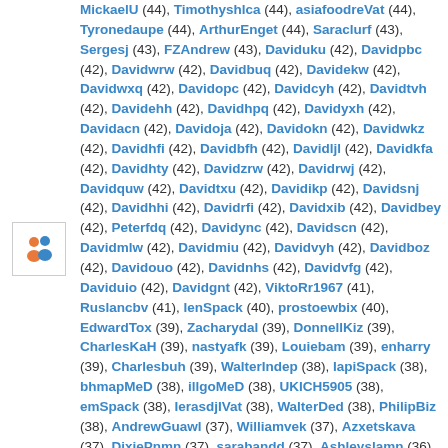[Figure (illustration): User group icon showing two silhouette figures, one orange and one blue, in a small bordered square]
MickaelU (44), Timothyshlca (44), asiafoodreVat (44), Tyronedaupe (44), ArthurEnget (44), Saraclurf (43), Sergesj (43), FZAndrew (43), Daviduku (42), Davidpbc (42), Davidwrw (42), Davidbuq (42), Davidekw (42), Davidwxq (42), Davidopc (42), Davidcyh (42), Davidtvh (42), Davidehh (42), Davidhpq (42), Davidyxh (42), Davidacn (42), Davidoja (42), Davidokn (42), Davidwkz (42), Davidhfi (42), Davidbfh (42), Davidljl (42), Davidkfa (42), Davidhty (42), Davidzrw (42), Davidrwj (42), Davidquw (42), Davidtxu (42), Davidikp (42), Davidsnj (42), Davidhhi (42), Davidrfi (42), Davidxib (42), Davidbey (42), Peterfdq (42), Davidync (42), Davidscn (42), Davidmlw (42), Davidmiu (42), Davidvyh (42), Davidboz (42), Davidouo (42), Davidnhs (42), Davidvfg (42), Daviduio (42), Davidgnt (42), ViktoRr1967 (41), Ruslancbv (41), IenSpack (40), prostoewbix (40), EdwardTox (39), Zacharydal (39), DonnellKiz (39), CharlesKaH (39), nastyafk (39), Louiebam (39), enharry (39), Charlesbuh (39), WalterIndep (38), IapiSpack (38), bhmapMeD (38), illgoMeD (38), UKICH5905 (38), emSpack (38), IerasdjIVat (38), WalterDed (38), PhilipBiz (38), AndrewGuawl (37), Williamvek (37), Azxetskava (37), DixiePnmn (37), sarabandd (37), Ashleyslamn (36), avtolmrtqVat (36), LisaUsek (36), goldtheo (36), MEGuy (36), WayneNeawl (35), kinogSpack (35), Charlesinems (35), RomarttrAde (35), Serzypg (34), Serzafz (34), Serzpdq (34),